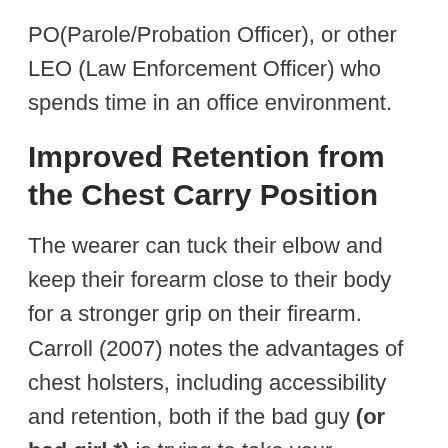PO(Parole/Probation Officer), or other LEO (Law Enforcement Officer) who spends time in an office environment.
Improved Retention from the Chest Carry Position
The wearer can tuck their elbow and keep their forearm close to their body for a stronger grip on their firearm. Carroll (2007) notes the advantages of chest holsters, including accessibility and retention, both if the bad guy (or bad girl *) is trying to take your